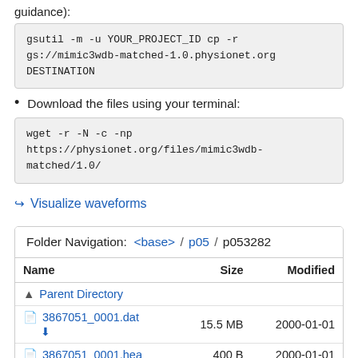guidance):
gsutil -m -u YOUR_PROJECT_ID cp -r gs://mimic3wdb-matched-1.0.physionet.org DESTINATION
Download the files using your terminal:
wget -r -N -c -np https://physionet.org/files/mimic3wdb-matched/1.0/
Visualize waveforms
| Name | Size | Modified |
| --- | --- | --- |
| Parent Directory |  |  |
| 3867051_0001.dat | 15.5 MB | 2000-01-01 |
| 3867051_0001.hea | 400 B | 2000-01-01 |